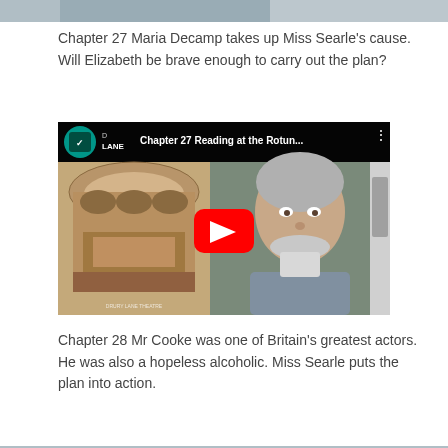[Figure (photo): Top cropped image strip showing partial figures in grey/blue tones]
Chapter 27 Maria Decamp takes up Miss Searle’s cause. Will Elizabeth be brave enough to carry out the plan?
[Figure (screenshot): YouTube video thumbnail for 'Chapter 27 Reading at the Rotun...' featuring a historical theatre image on the left and a man with grey hair and beard on the right, with a red YouTube play button overlay]
Chapter 28 Mr Cooke was one of Britain’s greatest actors. He was also a hopeless alcoholic. Miss Searle puts the plan into action.
[Figure (photo): Bottom cropped image strip]